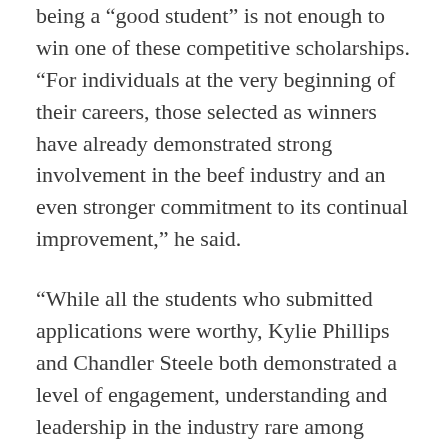being a “good student” is not enough to win one of these competitive scholarships. “For individuals at the very beginning of their careers, those selected as winners have already demonstrated strong involvement in the beef industry and an even stronger commitment to its continual improvement,” he said.
“While all the students who submitted applications were worthy, Kylie Phillips and Chandler Steele both demonstrated a level of engagement, understanding and leadership in the industry rare among many young people who have already entered the industry, let alone those who are still students,” Stika said. “Their list of